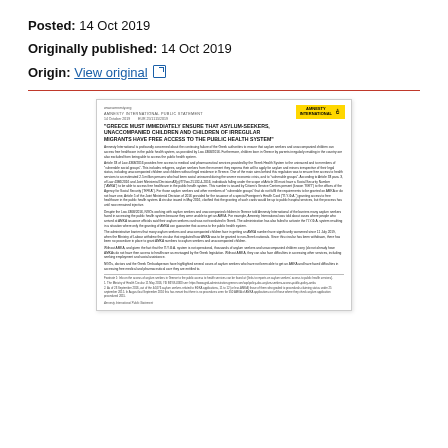Posted: 14 Oct 2019
Originally published: 14 Oct 2019
Origin: View original
[Figure (other): Preview image of an Amnesty International Public Statement document titled 'Greece must immediately ensure that asylum-seekers, unaccompanied children and children of irregular migrants have free access to the public health system', dated 14 October 2019, with Amnesty International logo in yellow top right corner, followed by several paragraphs of body text and footnotes.]